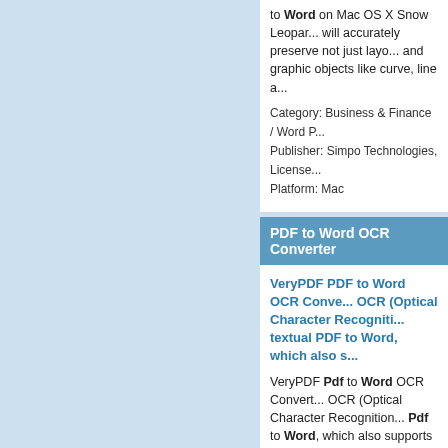to Word on Mac OS X Snow Leopar... will accurately preserve not just layo... and graphic objects like curve, line a...
Category: Business & Finance / Word P...
Publisher: Simpo Technologies, License...
Platform: Mac
PDF to Word OCR Converter
VeryPDF PDF to Word OCR Conve... OCR (Optical Character Recogniti... textual PDF to Word, which also s...
VeryPDF Pdf to Word OCR Convert... OCR (Optical Character Recognition... Pdf to Word, which also supports ba... options of conversions from textual...
Category: Software Development / Com...
Publisher: VeryPDF.com Inc., License: S...
Platform: Windows
Convert Word to PDF Online
Kernel for Word to PDF is an exce... format. This tool can be used to co...